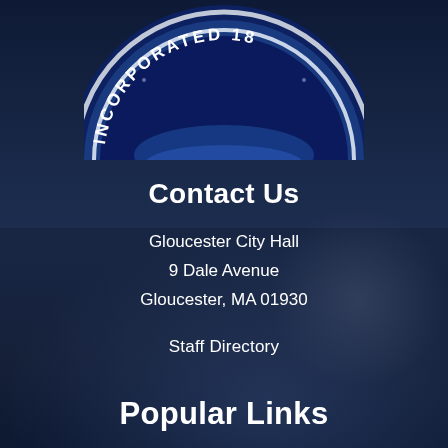[Figure (logo): Partial view of Gloucester city seal showing 'INCORPORATED 18...' text on a circular blue and white badge]
Contact Us
Gloucester City Hall
9 Dale Avenue
Gloucester, MA 01930
Staff Directory
Popular Links